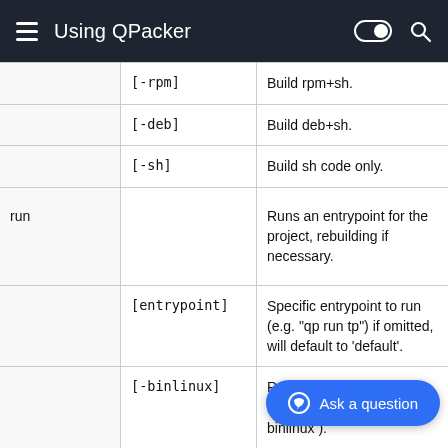Using QPacker
| Command | Option | Description |
| --- | --- | --- |
|  | [-rpm] | Build rpm+sh. |
|  | [-deb] | Build deb+sh. |
|  | [-sh] | Build sh code only. |
| run |  | Runs an entrypoint for the project, rebuilding if necessary. |
|  | [entrypoint] | Specific entrypoint to run (e.g. "qp run tp") if omitted, will default to 'default'. |
|  | [-binlinux] | Run under local kdb+ installation (e.g. "qp run -binlinux <e.p.>"). |